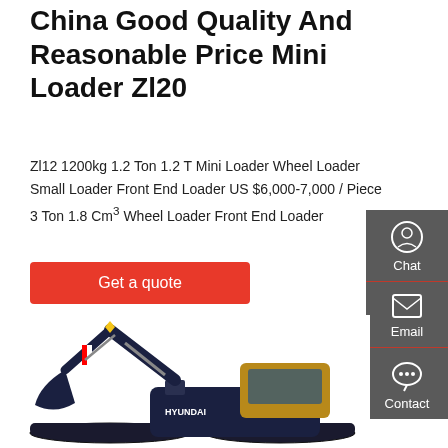China Good Quality And Reasonable Price Mini Loader Zl20
Zl12 1200kg 1.2 Ton 1.2 T Mini Loader Wheel Loader Small Loader Front End Loader US $6,000-7,000 / Piece 3 Ton 1.8 Cm³ Wheel Loader Front End Loader
Get a quote
[Figure (photo): Hyundai excavator with a large arm and bucket on tracked base, dark navy blue and yellow color scheme]